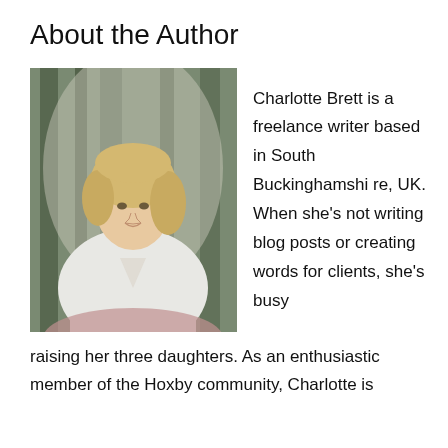About the Author
[Figure (photo): Professional portrait photo of Charlotte Brett, a blonde woman wearing a white blazer, seated against a forest/tree backdrop.]
Charlotte Brett is a freelance writer based in South Buckinghamshire, UK. When she’s not writing blog posts or creating words for clients, she’s busy raising her three daughters. As an enthusiastic member of the Hoxby community, Charlotte is